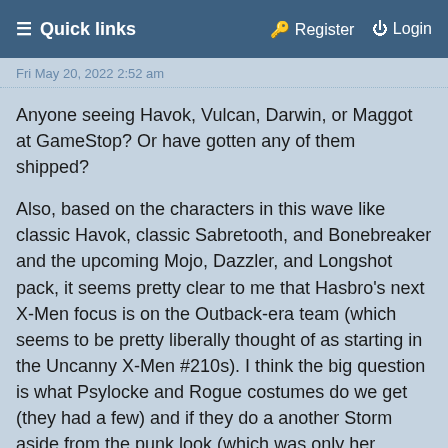☰ Quick links   🔑 Register   ⏻ Login
Fri May 20, 2022 2:52 am
Anyone seeing Havok, Vulcan, Darwin, or Maggot at GameStop? Or have gotten any of them shipped?
Also, based on the characters in this wave like classic Havok, classic Sabretooth, and Bonebreaker and the upcoming Mojo, Dazzler, and Longshot pack, it seems pretty clear to me that Hasbro's next X-Men focus is on the Outback-era team (which seems to be pretty liberally thought of as starting in the Uncanny X-Men #210s). I think the big question is what Psylocke and Rogue costumes do we get (they had a few) and if they do a another Storm aside from the punk look (which was only her costume during the early parts of that general era) or one of her several other looks from that era (which were pretty inconsistent.